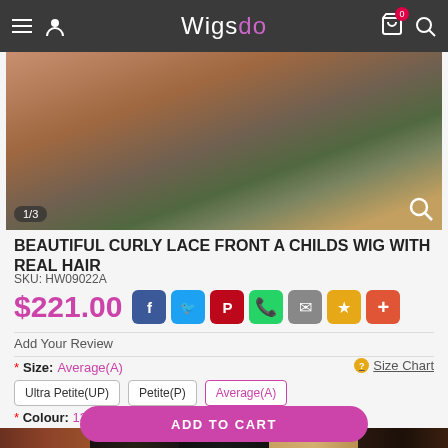Wigsdo
[Figure (photo): Product photo of a curly lace front wig, partially visible, with image counter 1/3]
BEAUTIFUL CURLY LACE FRONT A CHILDS WIG WITH REAL HAIR
SKU: HW09022A
$221.00
Add Your Review
* Size: Average(A)
Size Chart
Ultra Petite(UP)
Petite(P)
Average(A)
* Colour: 130
[Figure (photo): Colour swatches row showing 5 colour samples including brown, black, and blonde shades]
ADD TO CART